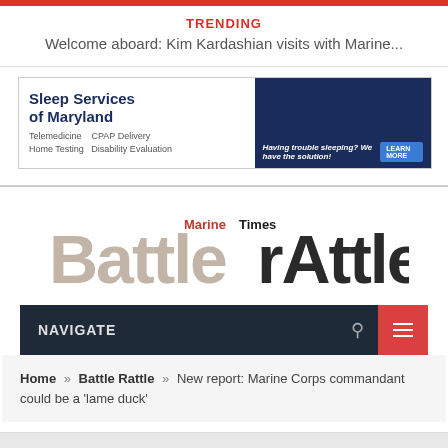TRENDING
Welcome aboard: Kim Kardashian visits with Marine...
[Figure (photo): Sleep Services of Maryland advertisement banner. Text: Sleep Services of Maryland, Telemedicine, CPAP Delivery, Home Testing, Disability Evaluation. Having trouble sleeping? We have the solution! LEARN MORE]
[Figure (logo): Marine Times Battle Rattle blog logo. Large stylized text reading 'BattlerAttle' with Marine Times branding above.]
NAVIGATE
Home » Battle Rattle » New report: Marine Corps commandant could be a 'lame duck'